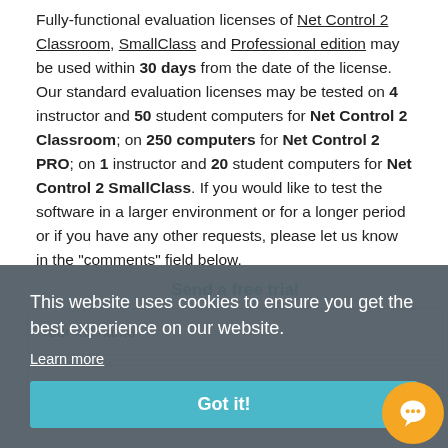Fully-functional evaluation licenses of Net Control 2 Classroom, SmallClass and Professional edition may be used within 30 days from the date of the license. Our standard evaluation licenses may be tested on 4 instructor and 50 student computers for Net Control 2 Classroom; on 250 computers for Net Control 2 PRO; on 1 instructor and 20 student computers for Net Control 2 SmallClass. If you would like to test the software in a larger environment or for a longer period or if you have any other requests, please let us know in the "comments" field below.
[Figure (screenshot): Cookie consent overlay banner with message 'This website uses cookies to ensure you get the best experience on our website.', a 'Learn more' link, and a cyan 'Got it!' button. Behind it, a partially visible form with 'Send a free trial' heading, 'Your full name' and 'Organization' input fields. An orange chat bubble icon in the bottom right.]